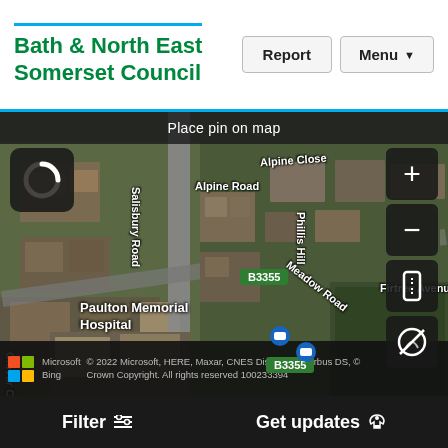Bath & North East Somerset Council
[Figure (screenshot): Aerial satellite map showing Paulton area with streets labeled: Alpine Road, Alpine Close, Salisbury Road, Clover Close, B3355, Meadow Road, Firtree Avenue, Phillis Hill. Shows Paulton Memorial Hospital. Map has zoom controls, spinner, road/satellite toggle buttons.]
Place pin on map
Paulton Memorial Hospital
© 2022 Microsoft, HERE, Maxar, CNES Distribution Airbus DS, © Crown Copyright. All rights reserved 100233394
Filter  Get updates